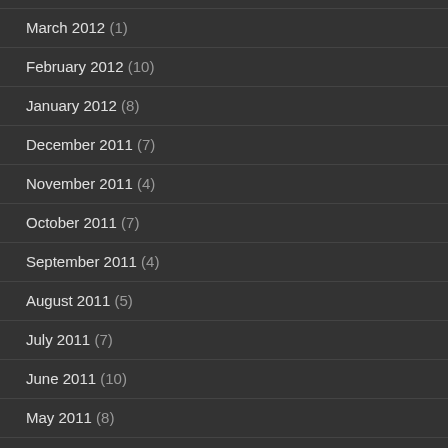March 2012 (1)
February 2012 (10)
January 2012 (8)
December 2011 (7)
November 2011 (4)
October 2011 (7)
September 2011 (4)
August 2011 (5)
July 2011 (7)
June 2011 (10)
May 2011 (8)
April 2011 (9)